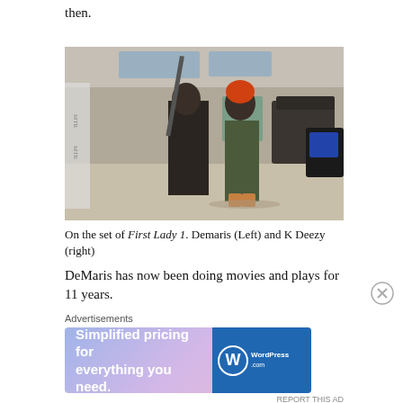then.
[Figure (photo): On the set of a film. Two men stand in an industrial warehouse. One on the left faces toward the right person. The person on the right wears an orange beanie and camouflage jacket with Timberland boots. A camera operator is visible on the far right.]
On the set of First Lady 1. Demaris (Left) and K Deezy (right)
DeMaris has now been doing movies and plays for 11 years.
Advertisements
[Figure (screenshot): WordPress.com advertisement: Simplified pricing for everything you need.]